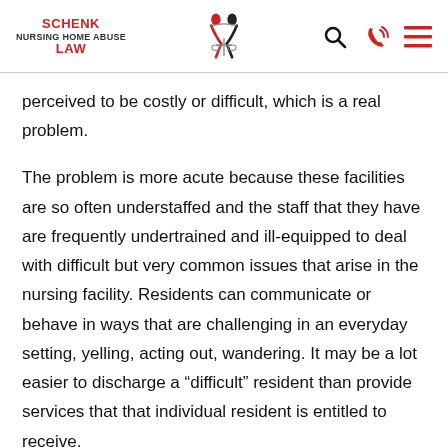SCHENK NURSING HOME ABUSE LAW
perceived to be costly or difficult, which is a real problem.
The problem is more acute because these facilities are so often understaffed and the staff that they have are frequently undertrained and ill-equipped to deal with difficult but very common issues that arise in the nursing facility. Residents can communicate or behave in ways that are challenging in an everyday setting, yelling, acting out, wandering. It may be a lot easier to discharge a “difficult” resident than provide services that that individual resident is entitled to receive.